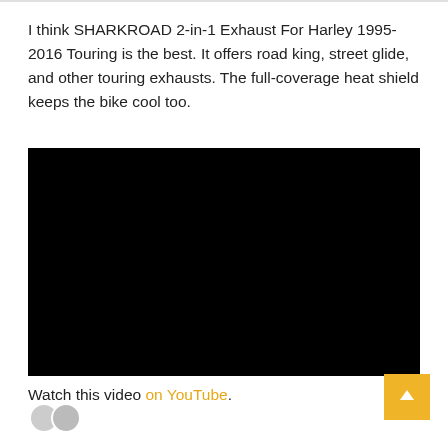I think SHARKROAD 2-in-1 Exhaust For Harley 1995-2016 Touring is the best. It offers road king, street glide, and other touring exhausts. The full-coverage heat shield keeps the bike cool too.
[Figure (screenshot): Black video player embed (YouTube video, currently showing black/unloaded state)]
Watch this video on YouTube.